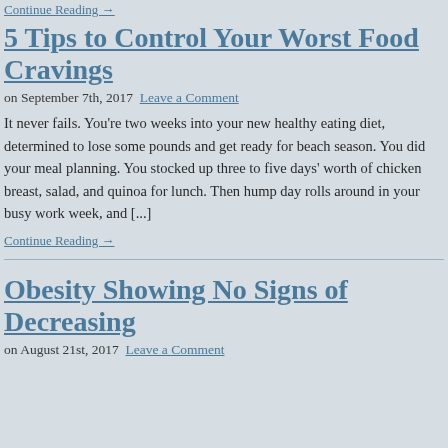Continue Reading →
5 Tips to Control Your Worst Food Cravings
on September 7th, 2017 Leave a Comment
It never fails. You're two weeks into your new healthy eating diet, determined to lose some pounds and get ready for beach season. You did your meal planning. You stocked up three to five days' worth of chicken breast, salad, and quinoa for lunch. Then hump day rolls around in your busy work week, and [...]
Continue Reading →
Obesity Showing No Signs of Decreasing
on August 21st, 2017 Leave a Comment